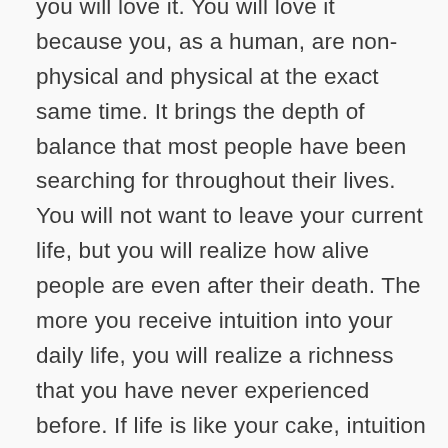you will love it. You will love it because you, as a human, are non-physical and physical at the exact same time. It brings the depth of balance that most people have been searching for throughout their lives. You will not want to leave your current life, but you will realize how alive people are even after their death. The more you receive intuition into your daily life, you will realize a richness that you have never experienced before. If life is like your cake, intuition is the luscious icing on your cake. You will feel more alive than you have ever been before.